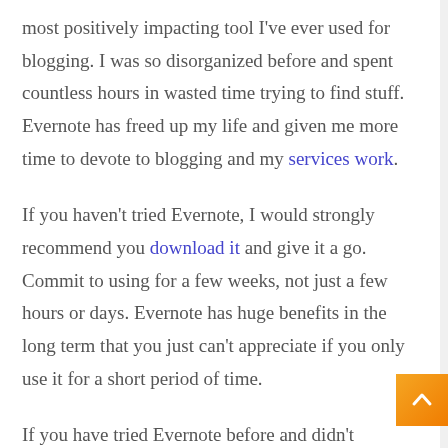most positively impacting tool I've ever used for blogging. I was so disorganized before and spent countless hours in wasted time trying to find stuff. Evernote has freed up my life and given me more time to devote to blogging and my services work.
If you haven't tried Evernote, I would strongly recommend you download it and give it a go. Commit to using for a few weeks, not just a few hours or days. Evernote has huge benefits in the long term that you just can't appreciate if you only use it for a short period of time.
If you have tried Evernote before and didn't